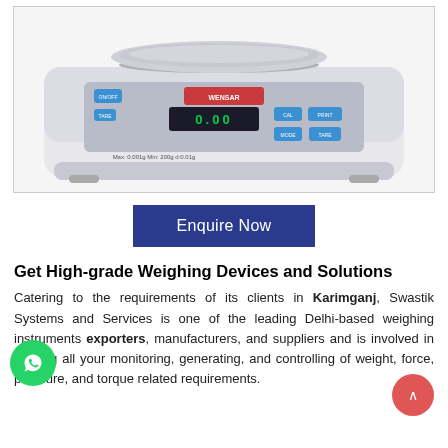[Figure (photo): A digital weighing scale/balance with a circular stainless steel pan on top, white body, blue digital display showing 0.00, and several blue function buttons labeled CAL, PRINT, MODE, TARE. The scale appears to be a precision laboratory balance.]
Enquire Now
Get High-grade Weighing Devices and Solutions
Catering to the requirements of its clients in Karimganj, Swastik Systems and Services is one of the leading Delhi-based weighing instruments exporters, manufacturers, and suppliers and is involved in fulfilling all your monitoring, generating, and controlling of weight, force, pressure, and torque related requirements.